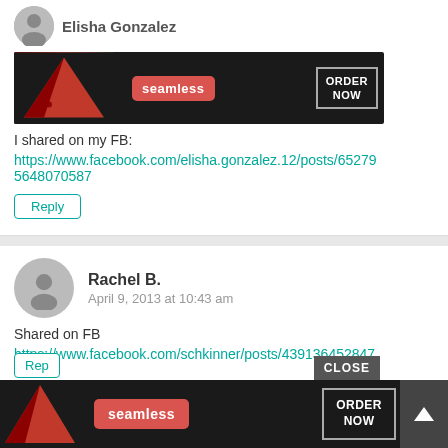Elisha Gonzalez
[Figure (advertisement): Seamless pizza ad banner with ORDER NOW button]
I shared on my FB:
https://www.facebook.com/elisha.gonzalez.12/posts/652795648070587
Reply
Rachel B.
April 9, 2013 at 10:43 am
Shared on FB
https://www.facebook.com/schkinner/posts/439136452847870
schkinner (AT)yahoo (DOT)com
Rep
CLOSE
[Figure (advertisement): Seamless pizza ad banner at bottom with ORDER NOW button and scroll up arrow]